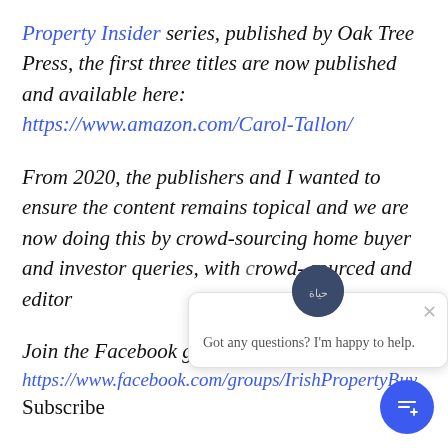Property Insider series, published by Oak Tree Press, the first three titles are now published and available here: https://www.amazon.com/Carol-Tallon/
From 2020, the publishers and I wanted to ensure the content remains topical and we are now doing this by crowd-sourcing home buyer and investor queries, with crowd-sourced and editor
Join the Facebook g...
https://www.facebook.com/groups/IrishPropertyBuy...
Subscribe